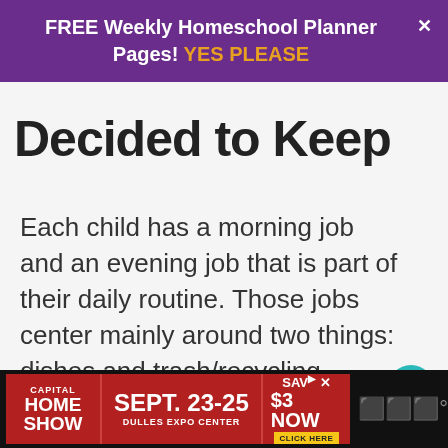FREE Weekly Homeschool Planner Pages! YES PLEASE
Decided to Keep
Each child has a morning job and an evening job that is part of their daily routine. Those jobs center mainly around two things: dishes and trash/recycling.
[Figure (infographic): Heart/like button with teal circular background and 1.1K count below]
[Figure (infographic): Share button with circular white background]
[Figure (infographic): What's Next card: thumbnail image and text '12 Tips to Keep a Clea...']
[Figure (infographic): Advertisement banner: Capital Home Show, Sept. 23-25, Dulles Expo Center, Save $3 Now, Click Here]